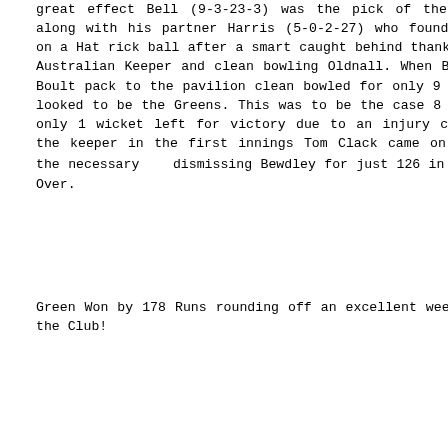great effect Bell (9-3-23-3) was the pick of the bowling along with his partner Harris (5-0-2-27) who found himself on a Hat rick ball after a smart caught behind thanks to the Australian Keeper and clean bowling Oldnall. When Bell sent Boult pack to the pavilion clean bowled for only 9 the game looked to be the Greens. This was to be the case 8 down and only 1 wicket left for victory due to an injury caused to the keeper in the first innings Tom Clack came on and did the necessary dismissing Bewdley for just 126 in the 30th Over.
Green Won by 178 Runs rounding off an excellent weekend for the Club!